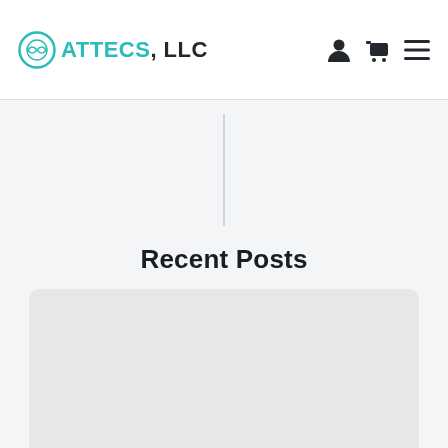ATTECS, LLC
[Figure (other): Hero banner area with vertical divider line on light gray background]
Recent Posts
[Figure (other): Gray card/image placeholder box for a blog post]